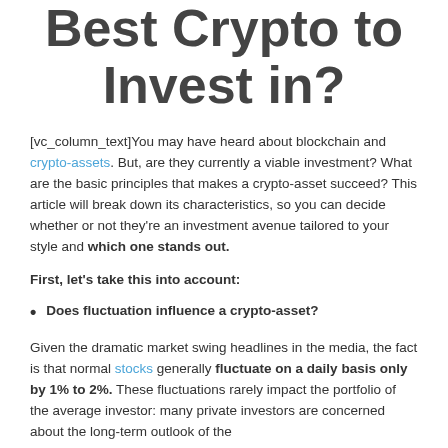Best Crypto to Invest in?
[vc_column_text]You may have heard about blockchain and crypto-assets. But, are they currently a viable investment? What are the basic principles that makes a crypto-asset succeed? This article will break down its characteristics, so you can decide whether or not they're an investment avenue tailored to your style and which one stands out.
First, let's take this into account:
Does fluctuation influence a crypto-asset?
Given the dramatic market swing headlines in the media, the fact is that normal stocks generally fluctuate on a daily basis only by 1% to 2%. These fluctuations rarely impact the portfolio of the average investor: many private investors are concerned about the long-term outlook of the